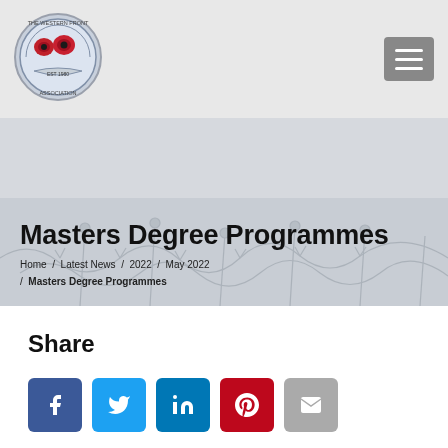The Western Front Association logo and navigation menu
[Figure (logo): The Western Front Association circular logo with red poppies and blue/white border]
Masters Degree Programmes
Home / Latest News / 2022 / May 2022 / Masters Degree Programmes
Share
[Figure (infographic): Social sharing icons: Facebook, Twitter, LinkedIn, Pinterest, Email]